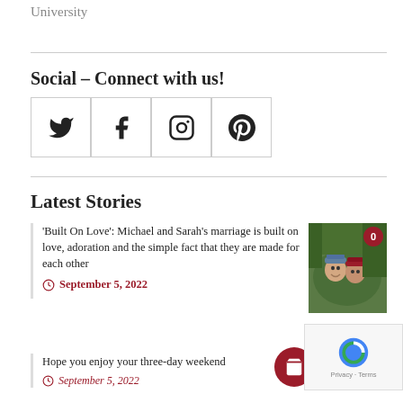University
Social – Connect with us!
[Figure (other): Four social media icon boxes: Twitter bird, Facebook f, Instagram camera, Pinterest p]
Latest Stories
'Built On Love': Michael and Sarah's marriage is built on love, adoration and the simple fact that they are made for each other
September 5, 2022
Hope you enjoy your three-day weekend
[Figure (photo): A couple wearing baseball caps outdoors among green trees]